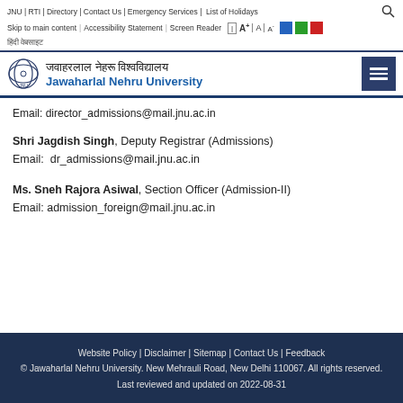JNU | RTI | Directory | Contact Us | Emergency Services | List of Holidays
Skip to main content | Accessibility Statement | Screen Reader | A+ | A | A-
हिंदी वेबसाइट
जवाहरलाल नेहरू विश्वविद्यालय
Jawaharlal Nehru University
Email: director_admissions@mail.jnu.ac.in
Shri Jagdish Singh, Deputy Registrar (Admissions)
Email: dr_admissions@mail.jnu.ac.in
Ms. Sneh Rajora Asiwal, Section Officer (Admission-II)
Email: admission_foreign@mail.jnu.ac.in
Website Policy | Disclaimer | Sitemap | Contact Us | Feedback
© Jawaharlal Nehru University. New Mehrauli Road, New Delhi 110067. All rights reserved.
Last reviewed and updated on 2022-08-31